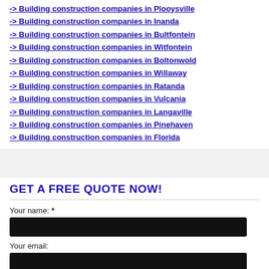-> Building construction companies in Plooysville
-> Building construction companies in Inanda
-> Building construction companies in Bultfontein
-> Building construction companies in Witfontein
-> Building construction companies in Boltonwold
-> Building construction companies in Willaway
-> Building construction companies in Ratanda
-> Building construction companies in Vulcania
-> Building construction companies in Langaville
-> Building construction companies in Pinehaven
-> Building construction companies in Florida
GET A FREE QUOTE NOW!
Your name: *
Your email:
Telephone: *